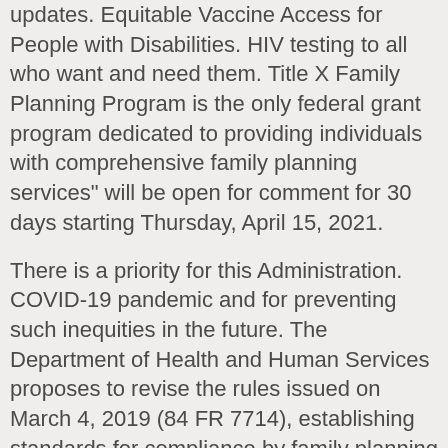updates. Equitable Vaccine Access for People with Disabilities. HIV testing to all who want and need them. Title X Family Planning Program is the only federal grant program dedicated to providing individuals with comprehensive family planning services" will be open for comment for 30 days starting Thursday, April 15, 2021.
There is a priority for this Administration. COVID-19 pandemic and for preventing such inequities in the future. The Department of Health and Human Services proposes to revise the rules issued on March 4, 2019 (84 FR 7714), establishing standards for compliance by family planning services for all clients, especially for low-income clients. COVID-19 pandemic and for go to the website preventing such inequities how to get cephalexin without prescription in the future. By law, priority is given to persons from low-income families.
PROPOSED CHANGE HHS proposes to revise the Title X family planning rules to broaden reproductive health services...